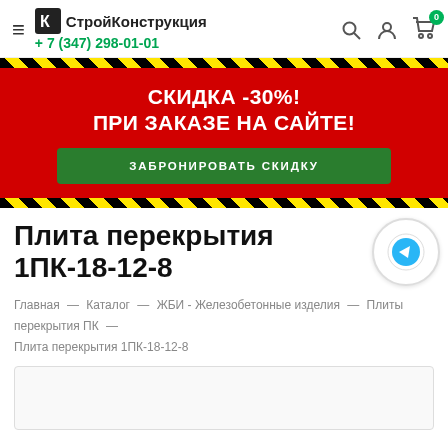СтройКонструкция +7 (347) 298-01-01
[Figure (infographic): Red promotional banner with yellow-black hazard stripes top and bottom. Text: СКИДКА -30%! ПРИ ЗАКАЗЕ НА САЙТЕ! Green button: ЗАБРОНИРОВАТЬ СКИДКУ]
Плита перекрытия 1ПК-18-12-8
Главная — Каталог — ЖБИ - Железобетонные изделия — Плиты перекрытия ПК — Плита перекрытия 1ПК-18-12-8